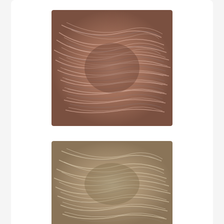[Figure (photo): Skein of yarn in red jasper colorway, multicolor with rust, pink, gray and cream tones, twisted hank viewed from above]
Cascade Spuntaneous Worsted Effects #307 Red Jasper
$10.50 $14.00
[Figure (photo): Skein of yarn in tan/beige colorway, multicolor with taupe, gray and cream tones, twisted hank viewed from above]